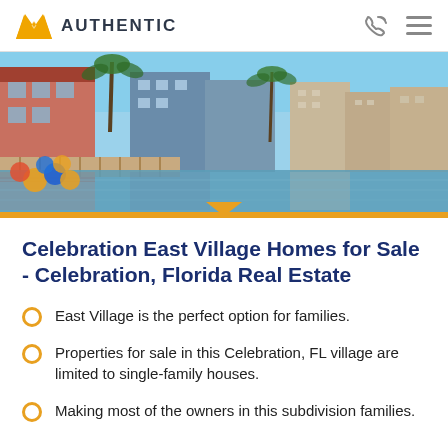AUTHENTIC
[Figure (photo): Waterfront scene of Celebration, Florida with colorful buildings, palm trees, a boardwalk, and a lake with reflections. Colorful balloons visible on the left.]
Celebration East Village Homes for Sale - Celebration, Florida Real Estate
East Village is the perfect option for families.
Properties for sale in this Celebration, FL village are limited to single-family houses.
Making most of the owners in this subdivision families.